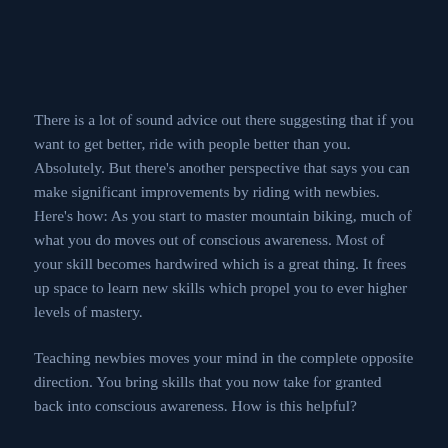There is a lot of sound advice out there suggesting that if you want to get better, ride with people better than you. Absolutely. But there's another perspective that says you can make significant improvements by riding with newbies. Here's how: As you start to master mountain biking, much of what you do moves out of conscious awareness. Most of your skill becomes hardwired which is a great thing. It frees up space to learn new skills which propel you to ever higher levels of mastery.
Teaching newbies moves your mind in the complete opposite direction. You bring skills that you now take for granted back into conscious awareness. How is this helpful?